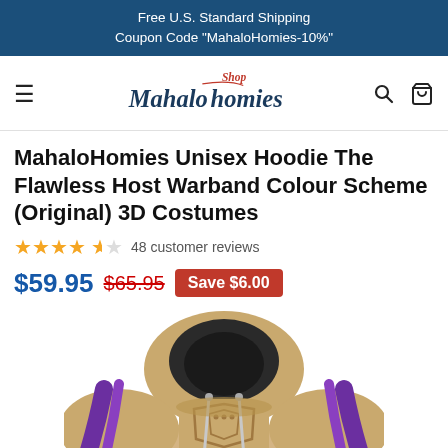Free U.S. Standard Shipping
Coupon Code "MahaloHomies-10%"
[Figure (logo): Shop MahaloHomies logo in cursive script with red 'Shop' accent text]
MahaloHomies Unisex Hoodie The Flawless Host Warband Colour Scheme (Original) 3D Costumes
★★★★½ 48 customer reviews
$59.95  $65.95  Save $6.00
[Figure (photo): A 3D printed hoodie with tan/beige coloring, dark hood interior, purple stripe accents, and decorative armor-style design on the front chest area]